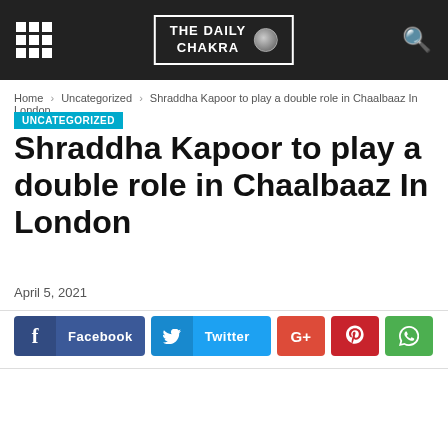THE DAILY CHAKRA
Home › Uncategorized › Shraddha Kapoor to play a double role in Chaalbaaz In London
UNCATEGORIZED
Shraddha Kapoor to play a double role in Chaalbaaz In London
April 5, 2021
[Figure (other): Social media share buttons: Facebook, Twitter, Google+, Pinterest, WhatsApp]